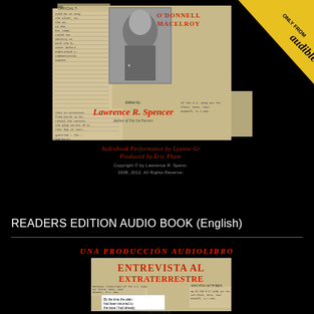[Figure (photo): Audiobook cover for 'Alien Interview' by Matilda O'Donnell MacElroy, edited by Lawrence R. Spencer, with Audible badge. Shows old paper documents and a woman's photo. Audiobook performance by Lyanne Gr... produced by Eric Pham. Copyright by Lawrence R. Spencer 2008, 2012. All Rights Reserved.]
READERS EDITION AUDIO BOOK (English)
[Figure (photo): Second audiobook cover in Spanish: 'UNA PRODUCCIÓN AUDIOLIBRO' - 'ENTREVISTA AL EXTRATERRESTRE' - Edición Lectores Sin Notas Al Pie. Shows similar old paper document background with quote 'By the time the alien had been returned to the base I had already spent several hours']